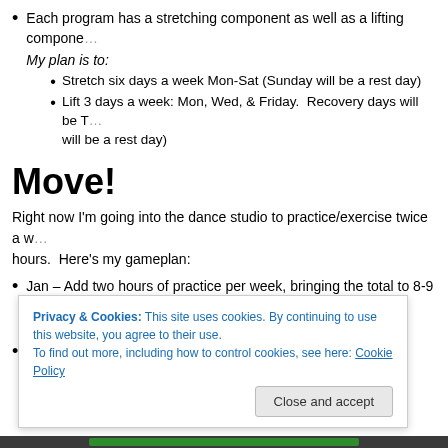Each program has a stretching component as well as a lifting component. My plan is to:
• Stretch six days a week Mon-Sat (Sunday will be a rest day)
• Lift 3 days a week: Mon, Wed, & Friday. Recovery days will be T... will be a rest day)
Move!
Right now I'm going into the dance studio to practice/exercise twice a w... hours. Here's my gameplan:
Jan – Add two hours of practice per week, bringing the total to 8-9 and... instead of two.
Feb – Add another two hours bringing the total per week of practice up...
Privacy & Cookies: This site uses cookies. By continuing to use this website, you agree to their use.
To find out more, including how to control cookies, see here: Cookie Policy
Close and accept